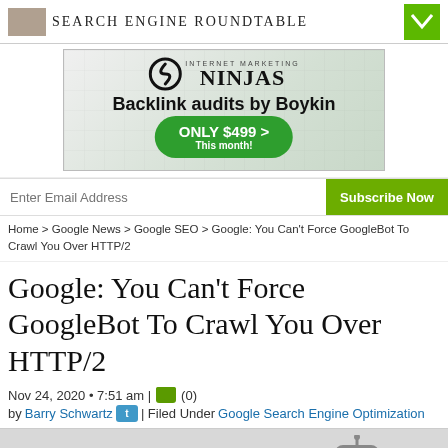SEARCH ENGINE ROUNDTABLE
[Figure (illustration): Internet Marketing Ninjas ad banner — Backlink audits by Boykin, ONLY $499 This month!]
Enter Email Address | Subscribe Now
Home > Google News > Google SEO > Google: You Can't Force GoogleBot To Crawl You Over HTTP/2
Google: You Can't Force GoogleBot To Crawl You Over HTTP/2
Nov 24, 2020 • 7:51 am | (0)
by Barry Schwartz | Filed Under Google Search Engine Optimization
[Figure (illustration): Preview image showing Google and robot/bot icons on a grey background]